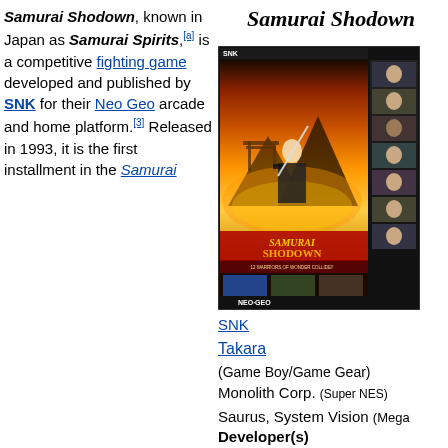Samurai Shodown
[Figure (photo): Box art for Samurai Shodown on Neo Geo, showing a samurai warrior with sword against a dramatic orange and gold background, with SNK branding and NeoGeo logo. Includes character portrait strip on the right side and three small gameplay screenshots at the bottom.]
Samurai Shodown, known in Japan as Samurai Spirits,[a] is a competitive fighting game developed and published by SNK for their Neo Geo arcade and home platform.[3] Released in 1993, it is the first installment in the Samurai
SNK
Takara
(Game Boy/Game Gear)
Monolith Corp. (Super NES)
Saurus, System Vision (Mega
Developer(s)